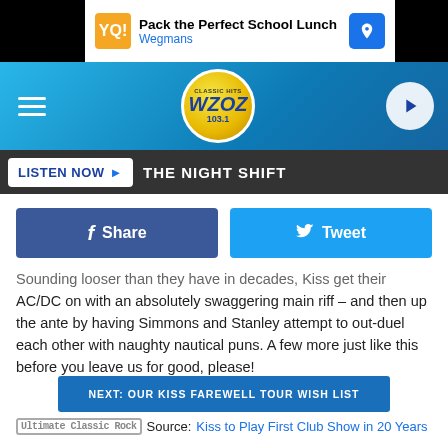[Figure (screenshot): Wegmans advertisement banner: Pack the Perfect School Lunch]
[Figure (logo): Classic Hits WZOZ 103.1 radio station logo in blue gradient header with hamburger menu and play button]
LISTEN NOW ▶  THE NIGHT SHIFT
f Share   Tweet
Sounding looser than they have in decades, Kiss get their AC/DC on with an absolutely swaggering main riff – and then up the ante by having Simmons and Stanley attempt to out-duel each other with naughty nautical puns. A few more just like this before you leave us for good, please!
NEXT: OUR KISS FAREWELL TOUR WISH LIST
Source: Kiss to Play First Club Show in 20 Years